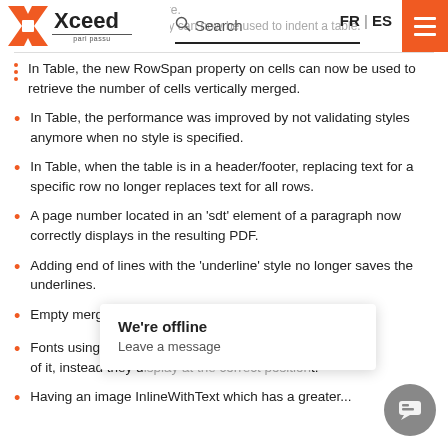Xceed — Search — FR | ES
In Table, the new RowSpan property on cells can now be used to retrieve the number of cells vertically merged.
In Table, the performance was improved by not validating styles anymore when no style is specified.
In Table, when the table is in a header/footer, replacing text for a specific row no longer replaces text for all rows.
A page number located in an 'sdt' element of a paragraph now correctly displays in the resulting PDF.
Adding end of lines with the 'underline' style no longer saves the underlines.
Empty merged cells no longer set a row height of 0.
Fonts using a 'raise' ... of it, instead they ... t.
Having an image InlineWithText which has a greater...
We're offline
Leave a message